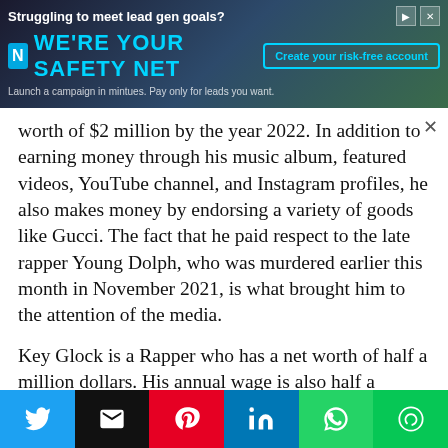[Figure (other): Advertisement banner for a lead generation service. Headline: 'Struggling to meet lead gen goals?' Logo: blue N box with 'WE'RE YOUR SAFETY NET' in cyan text. CTA button: 'Create your risk-free account'. Subline: 'Launch a campaign in mintues. Pay only for leads you want.']
worth of $2 million by the year 2022. In addition to earning money through his music album, featured videos, YouTube channel, and Instagram profiles, he also makes money by endorsing a variety of goods like Gucci. The fact that he paid respect to the late rapper Young Dolph, who was murdered earlier this month in November 2021, is what brought him to the attention of the media.
Key Glock is a Rapper who has a net worth of half a million dollars. His annual wage is also half a million dollars. On August 3, 1997, Key Glock was
[Figure (other): Social media share buttons row: Twitter (blue), Email (black), Pinterest (red), LinkedIn (blue), WhatsApp (green), LINE (green)]